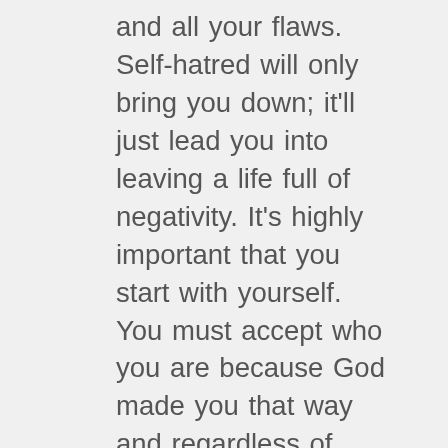and all your flaws. Self-hatred will only bring you down; it'll just lead you into leaving a life full of negativity. It's highly important that you start with yourself. You must accept who you are because God made you that way and regardless of society's standards, you are most absolutely perfect. Positivity starts once you've accepted yourself. Do not focus on your imperfections and failures but rather focus on your strengths and positive characteristics. This will then have a series of positive effects to you and to your life. You'll